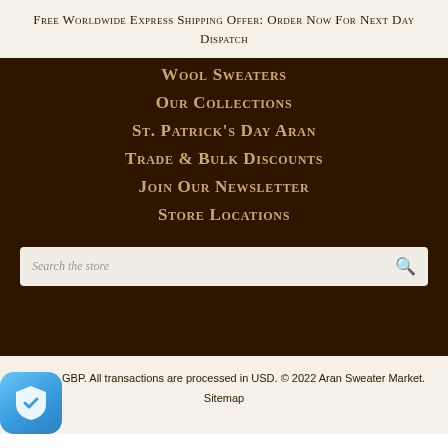Free Worldwide Express Shipping Offer: Order Now For Next Day Dispatch
Wool Sweaters
Our Collections
St. Patrick's Day Aran
Trade & Bulk Discounts
Join Our Newsletter
Store Locations
Search the store
s are in GBP. All transactions are processed in USD. © 2022 Aran Sweater Market. Sitemap